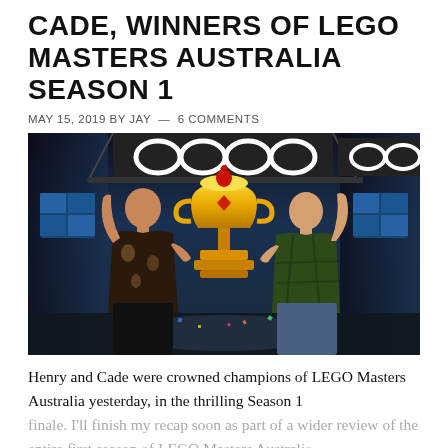CADE, WINNERS OF LEGO MASTERS AUSTRALIA SEASON 1
MAY 15, 2019 BY JAY — 6 COMMENTS
[Figure (photo): Photo of Henry and Cade, the two winners of LEGO Masters Australia Season 1, celebrating with raised fists and holding the large golden LEGO trophy in a warehouse studio setting with LEGO logo ceiling lights overhead.]
Henry and Cade were crowned champions of LEGO Masters Australia yesterday, in the thrilling Season 1 finale. I'll finish my recap soon as part of a wider review of the entire first season of LEGO Masters Australia.